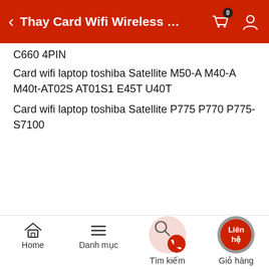Thay Card Wifi Wireless …
C660 4PIN
Card wifi laptop toshiba Satellite M50-A M40-A M40t-AT02S AT01S1 E45T U40T
Card wifi laptop toshiba Satellite P775 P770 P775-S7100
Home   Danh mục   Tìm kiếm   Giỏ hàng